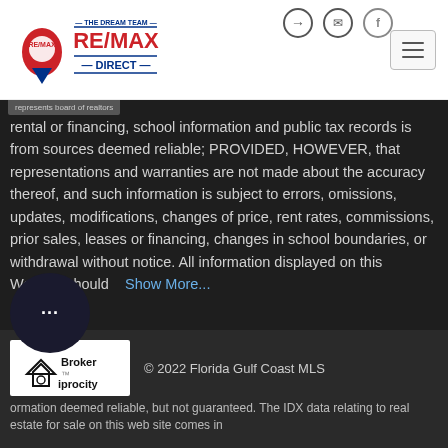[Figure (logo): RE/MAX Direct - The Dream Team logo with hot air balloon icon]
represents board of realtors
rental or financing, school information and public tax records is from sources deemed reliable; PROVIDED, HOWEVER, that representations and warranties are not made about the accuracy thereof, and such information is subject to errors, omissions, updates, modifications, changes of price, rent rates, commissions, prior sales, leases or financing, changes in school boundaries, or withdrawal without notice. All information displayed on this Website should   Show More...
[Figure (logo): Broker Reciprocity logo]
© 2022 Florida Gulf Coast MLS
ormation deemed reliable, but not guaranteed. The IDX data relating to real estate for sale on this web site comes in